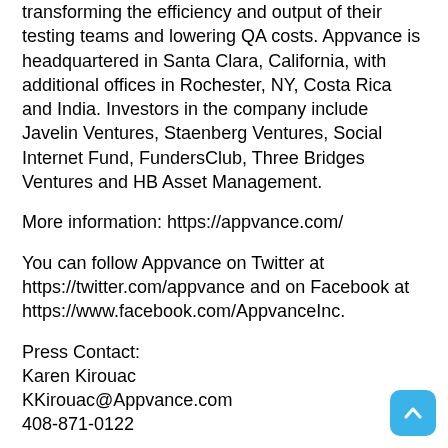transforming the efficiency and output of their testing teams and lowering QA costs. Appvance is headquartered in Santa Clara, California, with additional offices in Rochester, NY, Costa Rica and India. Investors in the company include Javelin Ventures, Staenberg Ventures, Social Internet Fund, FundersClub, Three Bridges Ventures and HB Asset Management.
More information: https://appvance.com/
You can follow Appvance on Twitter at https://twitter.com/appvance and on Facebook at https://www.facebook.com/AppvanceInc.
Press Contact:
Karen Kirouac
KKirouac@Appvance.com
408-871-0122
*IMAGE link for media: https://www.Send2Press.com/300dpi/20-0930s2p-appvance-300dpi.jpg
*Caption: Figure 1. Efficiency of Application Development